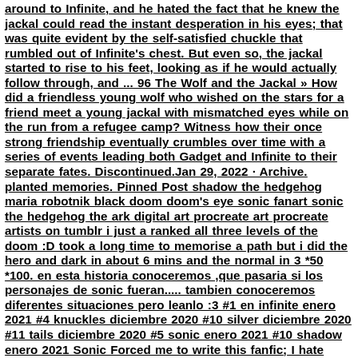around to Infinite, and he hated the fact that he knew the jackal could read the instant desperation in his eyes; that was quite evident by the self-satisfied chuckle that rumbled out of Infinite's chest. But even so, the jackal started to rise to his feet, looking as if he would actually follow through, and ... 96 The Wolf and the Jackal » How did a friendless young wolf who wished on the stars for a friend meet a young jackal with mismatched eyes while on the run from a refugee camp? Witness how their once strong friendship eventually crumbles over time with a series of events leading both Gadget and Infinite to their separate fates. Discontinued.Jan 29, 2022 · Archive. planted memories. Pinned Post shadow the hedgehog maria robotnik black doom doom's eye sonic fanart sonic the hedgehog the ark digital art procreate art procreate artists on tumblr i just a ranked all three levels of the doom :D took a long time to memorise a path but i did the hero and dark in about 6 mins and the normal in 3 *50 *100. en esta historia conoceremos ,que pasaria si los personajes de sonic fueran..... tambien conoceremos diferentes situaciones pero leanlo :3 #1 en infinite enero 2021 #4 knuckles diciembre 2020 #10 silver diciembre 2020 #11 tails diciembre 2020 #5 sonic enero 2021 #10 shadow enero 2021 Sonic Forced me to write this fanfic; I hate myself; It's 2022 and I'm simping for a poorly written furry; No beta we die like the Jackal Squad; Don't ask where he keeps his medkit because honestly I have no clue; Summary. This is nt the first time that you and Infinite have been...